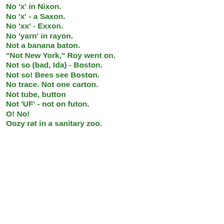No 'x' in Nixon.
No 'x' - a Saxon.
No 'xx' - Exxon.
No 'yarn' in rayon.
Not a banana baton.
"Not New York," Roy went on.
Not so (bad, Ida) - Boston.
Not so! Bees see Boston.
No trace. Not one carton.
Not tube, button
Not 'UF' - not on futon.
O! No!
Oozy rat in a sanitary zoo.